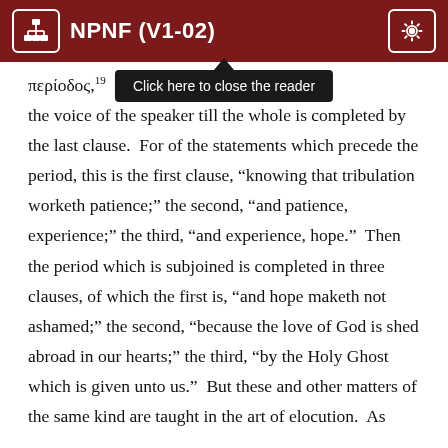NPNF (V1-02)
περίοδος,19 [tooltip: Click here to close the reader] suspended on the voice of the speaker till the whole is completed by the last clause.  For of the statements which precede the period, this is the first clause, “knowing that tribulation worketh patience;” the second, “and patience, experience;” the third, “and experience, hope.”  Then the period which is subjoined is completed in three clauses, of which the first is, “and hope maketh not ashamed;” the second, “because the love of God is shed abroad in our hearts;” the third, “by the Holy Ghost which is given unto us.”  But these and other matters of the same kind are taught in the art of elocution.  As